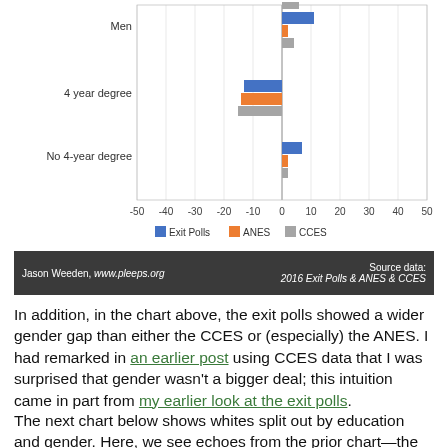[Figure (grouped-bar-chart): ]
Jason Weeden, www.pleeps.org
Source data: 2016 Exit Polls & ANES & CCES
In addition, in the chart above, the exit polls showed a wider gender gap than either the CCES or (especially) the ANES. I had remarked in an earlier post using CCES data that I was surprised that gender wasn't a bigger deal; this intuition came in part from my earlier look at the exit polls.
The next chart below shows whites split out by education and gender. Here, we see echoes from the prior chart—the exit polls had a generally greater advantage for showing a few